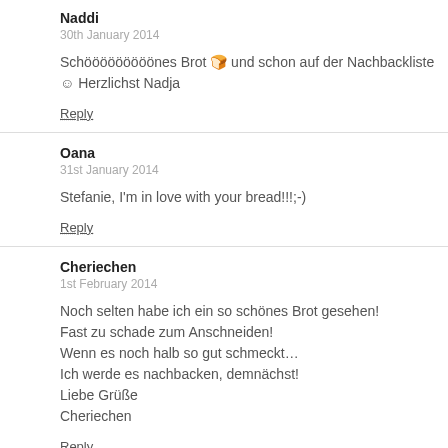Naddi
30th January 2014
Schööööööööönes Brot 🍞 und schon auf der Nachbackliste ☺ Herzlichst Nadja
Reply
Oana
31st January 2014
Stefanie, I'm in love with your bread!!!;-)
Reply
Cheriechen
1st February 2014
Noch selten habe ich ein so schönes Brot gesehen!
Fast zu schade zum Anschneiden!
Wenn es noch halb so gut schmeckt…
Ich werde es nachbacken, demnächst!
Liebe Grüße
Cheriechen
Reply